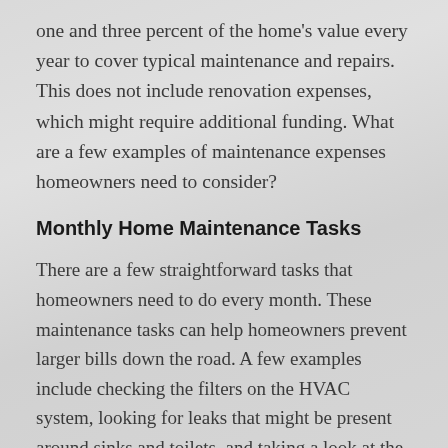one and three percent of the home's value every year to cover typical maintenance and repairs. This does not include renovation expenses, which might require additional funding. What are a few examples of maintenance expenses homeowners need to consider?
Monthly Home Maintenance Tasks
There are a few straightforward tasks that homeowners need to do every month. These maintenance tasks can help homeowners prevent larger bills down the road. A few examples include checking the filters on the HVAC system, looking for leaks that might be present around sinks and toilets, and taking a look at the filter in the kitchen vent hood. Homeowners also need to make sure